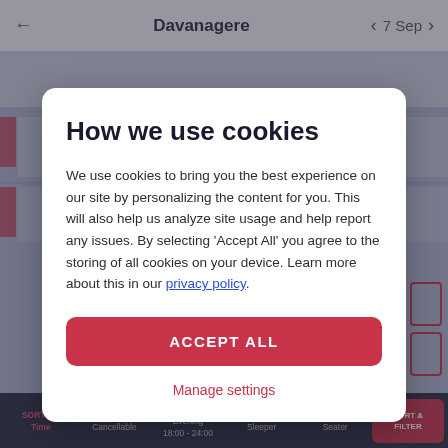Davanagere   ← → 7 Sep
[Figure (screenshot): Background mobile app showing bus booking interface for Davanagere with blurred content]
How we use cookies
We use cookies to bring you the best experience on our site by personalizing the content for you. This will also help us analyze site usage and help report any issues. By selecting 'Accept All' you agree to the storing of all cookies on your device. Learn more about this in our privacy policy.
ACCEPT ALL
Manage settings
SORT BY Time   Cancellable   Evening 18:00 - 24:00   Sleeper   Seater   SORT & FILTER